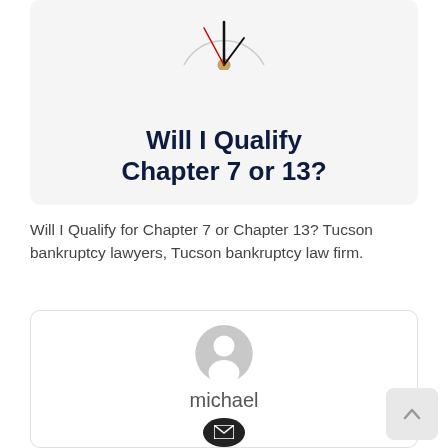[Figure (illustration): A card with a clock image at the top and bold text reading 'Will I Qualify Chapter 7 or 13?' on a light gray background]
Will I Qualify for Chapter 7 or Chapter 13? Tucson bankruptcy lawyers, Tucson bankruptcy law firm.
[Figure (illustration): Author card with a generic gray user avatar, the name 'michael' below it, and an email icon button]